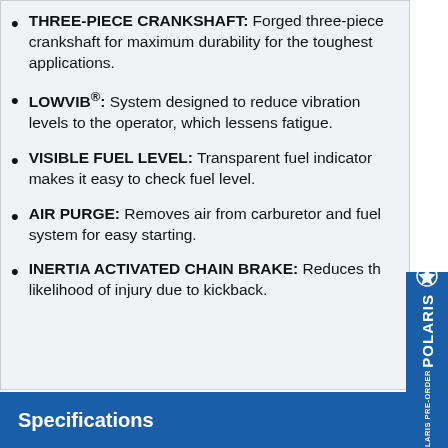THREE-PIECE CRANKSHAFT: Forged three-piece crankshaft for maximum durability for the toughest applications.
LOWVIB®: System designed to reduce vibration levels to the operator, which lessens fatigue.
VISIBLE FUEL LEVEL: Transparent fuel indicator makes it easy to check fuel level.
AIR PURGE: Removes air from carburetor and fuel system for easy starting.
INERTIA ACTIVATED CHAIN BRAKE: Reduces the likelihood of injury due to kickback.
[Figure (logo): Polaris Pre-Order vertical sidebar tab in blue]
Specifications +